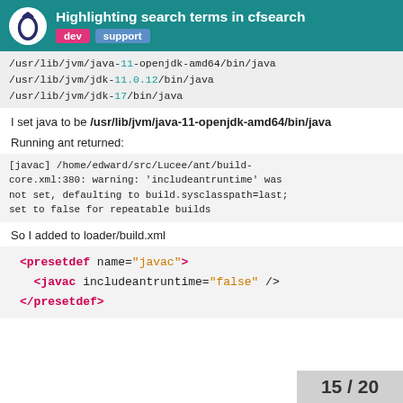Highlighting search terms in cfsearch
/usr/lib/jvm/java-11-openjdk-amd64/bin/java
/usr/lib/jvm/jdk-11.0.12/bin/java
/usr/lib/jvm/jdk-17/bin/java
I set java to be /usr/lib/jvm/java-11-openjdk-amd64/bin/java
Running ant returned:
[javac] /home/edward/src/Lucee/ant/build-core.xml:380: warning: 'includeantruntime' was not set, defaulting to build.sysclasspath=last; set to false for repeatable builds
So I added to loader/build.xml
<presetdef name="javac">
  <javac includeantruntime="false" />
</presetdef>
15 / 20